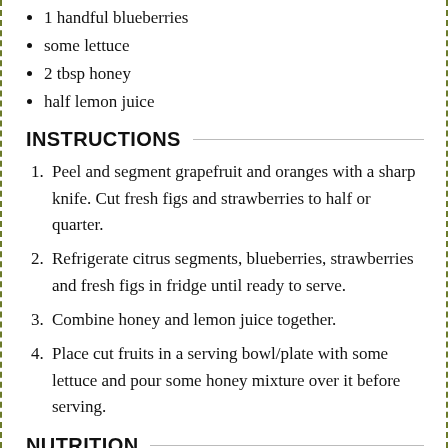1 handful blueberries
some lettuce
2 tbsp honey
half lemon juice
INSTRUCTIONS
Peel and segment grapefruit and oranges with a sharp knife. Cut fresh figs and strawberries to half or quarter.
Refrigerate citrus segments, blueberries, strawberries and fresh figs in fridge until ready to serve.
Combine honey and lemon juice together.
Place cut fruits in a serving bowl/plate with some lettuce and pour some honey mixture over it before serving.
NUTRITION
Calories: 235kcal
Carbohydrates: 61g
Protein: 3g
Fat: 1g
Saturated Fat: 1g
Sodium: 2mg